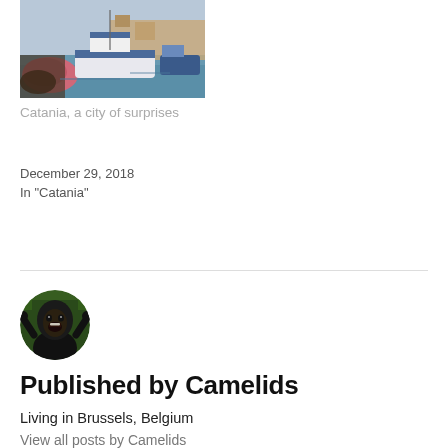[Figure (photo): Harbor scene with fishing boats moored, colorful ropes and pink/blue hulls, buildings visible in background across water]
Catania, a city of surprises
December 29, 2018
In "Catania"
[Figure (photo): Circular avatar portrait of a chimpanzee/gorilla facing forward with arms raised, green foliage background]
Published by Camelids
Living in Brussels, Belgium
View all posts by Camelids